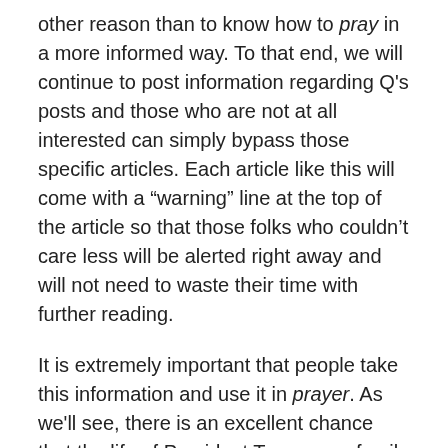other reason than to know how to pray in a more informed way. To that end, we will continue to post information regarding Q's posts and those who are not at all interested can simply bypass those specific articles. Each article like this will come with a "warning" line at the top of the article so that those folks who couldn't care less will be alerted right away and will not need to waste their time with further reading.
It is extremely important that people take this information and use it in prayer. As we'll see, there is an excellent chance that the life of President Trump or a family member of his is in danger of assassination. I do not say this lightly. This was also the case under President Obama because of how he was hated. However, as I did then, I prayed for his safety, even though I did not agree with his ideology or what he was trying to do to America. Of course then, it